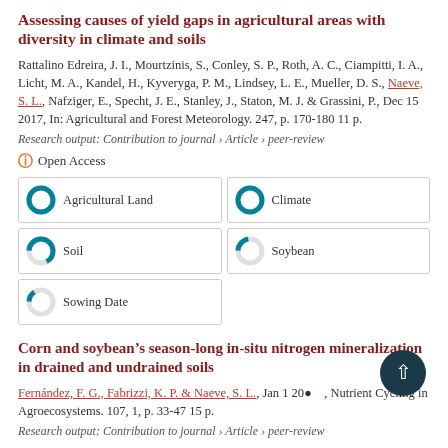Assessing causes of yield gaps in agricultural areas with diversity in climate and soils
Rattalino Edreira, J. I., Mourtzinis, S., Conley, S. P., Roth, A. C., Ciampitti, I. A., Licht, M. A., Kandel, H., Kyveryga, P. M., Lindsey, L. E., Mueller, D. S., Naeve, S. L., Nafziger, E., Specht, J. E., Stanley, J., Staton, M. J. & Grassini, P., Dec 15 2017, In: Agricultural and Forest Meteorology. 247, p. 170-180 11 p.
Research output: Contribution to journal › Article › peer-review
Open Access
[Figure (infographic): Keyword fingerprint boxes showing: Agricultural Land 100%, Climate 100%, Soil ~67%, Soybean ~22%, Sowing Date ~15%]
Corn and soybean’s season-long in-situ nitrogen mineralization in drained and undrained soils
Fernández, F. G., Fabrizzi, K. P. & Naeve, S. L., Jan 1 20..., Nutrient Cycling in Agroecosystems. 107, 1, p. 33-47 15 p.
Research output: Contribution to journal › Article › peer-review